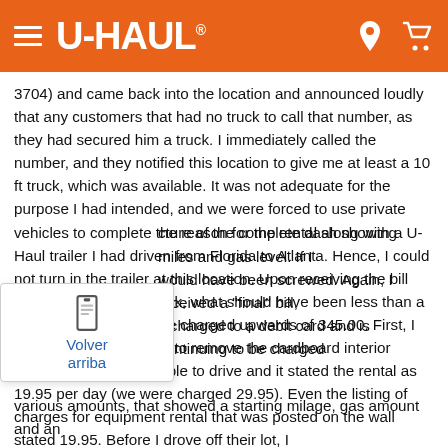U-HAUL
3704) and came back into the location and announced loudly that any customers that had no truck to call that number, as they had secured him a truck. I immediately called the number, and they notified this location to give me at least a 10 ft truck, which was available. It was not adequate for the purpose I had intended, and we were forced to use private vehicles to complete the reason for the rental along with a U-Haul trailer I had driven from Florida to Atlanta. Hence, I could not turn in the trailer at this location. Upon receiving the bill when I returned the truck, what should have been less than a 100.00 charge, we were charged upwards of 345.00. First, I entered the truck, I had to remove the cardboard interior windshield sign to be able to drive and it stated the rental as 19.95 per day (we were charged 29.95). Even the listing of charges for equipment rental that was posted on the wall stated 19.95. Before I drove off their lot, I
cture of the complete dash showing miles and gas level. If I would have been screwed. Again, I received a "final" bill, s charged to a debit card and is continuing to be charged
various amounts, that showed a starting milage, gas amount and an